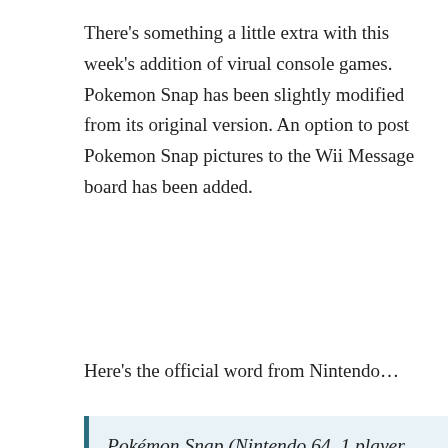There's something a little extra with this week's addition of virual console games. Pokemon Snap has been slightly modified from its original version. An option to post Pokemon Snap pictures to the Wii Message board has been added.
Here's the official word from Nintendo…
Pokémon Snap (Nintendo 64, 1 player, Rated E for Everyone, 1,000 Wii Points): As one of the most unique games in a renowned series, Pokémon Snap was the first truly 3-D Pokémon game and introduced the phenomenon to the Nintendo 64. Travel to Pokémon Island and meet Professor Oak to begin